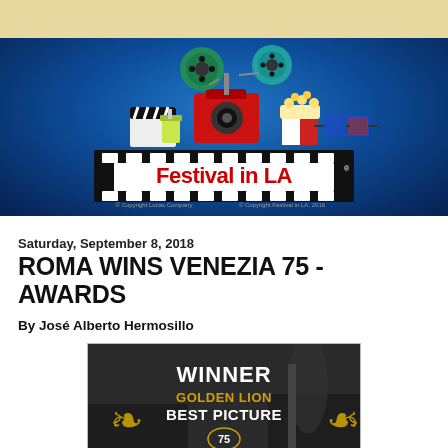[Figure (logo): Festival in LA logo on dark blue background with film camera, film reels, clapperboard, popcorn, and 3D glasses. Film strip at bottom with 'Festival in LA' text in red. Copyright notices for Lucas Company and Festival in LA 2016.]
Saturday, September 8, 2018
ROMA WINS VENEZIA 75 - AWARDS
By José Alberto Hermosillo
[Figure (photo): Black and white movie scene with overlay text: WINNER GOLDEN LION BEST PICTURE with golden laurel branches and a 75 emblem with Venezia film festival lion.]